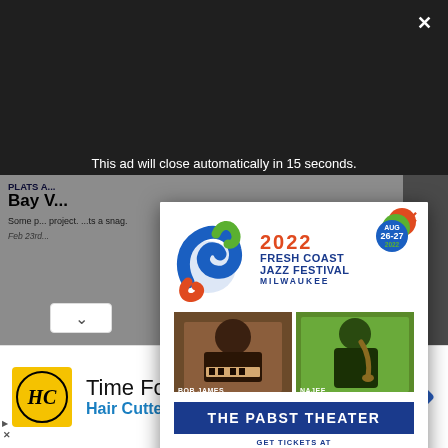This ad will close automatically in 15 seconds.
[Figure (infographic): 2022 Fresh Coast Jazz Festival advertisement with swirl logo, artist photos of Bob James and Najee, The Pabst Theater banner, and ticket website URLs. August 26-27 2022, Milwaukee.]
[Figure (infographic): Hair Cuttery advertisement with HC logo. Text: Time For a Trim? Hair Cuttery]